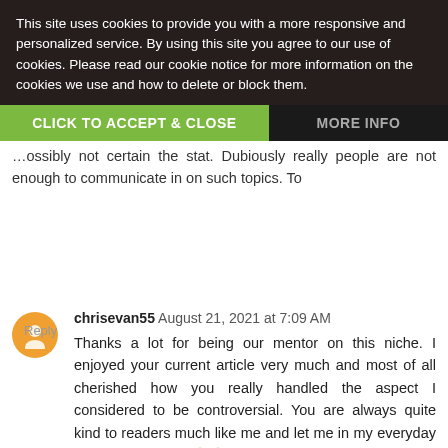This site uses cookies to provide you with a more responsive and personalized service. By using this site you agree to our use of cookies. Please read our cookie notice for more information on the cookies we use and how to delete or block them.
CLICK TO ACCEPT & CLOSE
MORE INFO
...possibly not certain the stat. Dubiously really people are not enough to communicate in on such topics. To
Reply
chrisevan55  August 21, 2021 at 7:09 AM
Thanks a lot for being our mentor on this niche. I enjoyed your current article very much and most of all cherished how you really handled the aspect I considered to be controversial. You are always quite kind to readers much like me and let me in my everyday living. Thank you. 🙏🙏
Reply
Reason Marcus  August 22, 2021 at 6:09 PM
I hate the fact that my iPhone be changing words and shit